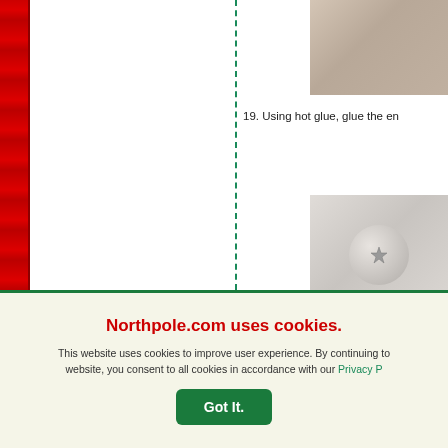[Figure (photo): Partial view of a crafting tutorial page with a red decorative bar on the left, a teal dotted vertical line in the center, and two photos on the right side showing craft materials and a coin/disc with an embossed image.]
19. Using hot glue, glue the en...
Northpole.com uses cookies.
This website uses cookies to improve user experience. By continuing to website, you consent to all cookies in accordance with our Privacy P...
Got It.